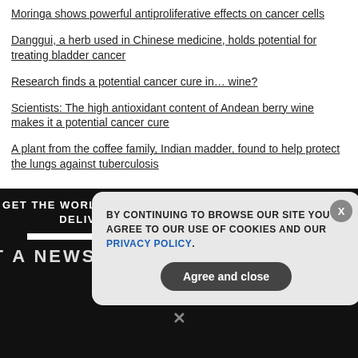Moringa shows powerful antiproliferative effects on cancer cells
Danggui, a herb used in Chinese medicine, holds potential for treating bladder cancer
Research finds a potential cancer cure in… wine?
Scientists: The high antioxidant content of Andean berry wine makes it a potential cancer cure
A plant from the coffee family, Indian madder, found to help protect the lungs against tuberculosis
GOT A NEWS TIP FOR NATURALNEWS.CO
GET THE WORLD'S BEST NATURAL HEALTH NEWSLETTER DELIVERED STRAIGHT TO YOUR INBOX
Enter Your Email Address
SUBSCRIBE
BY CONTINUING TO BROWSE OUR SITE YOU AGREE TO OUR USE OF COOKIES AND OUR PRIVACY POLICY.
Agree and close